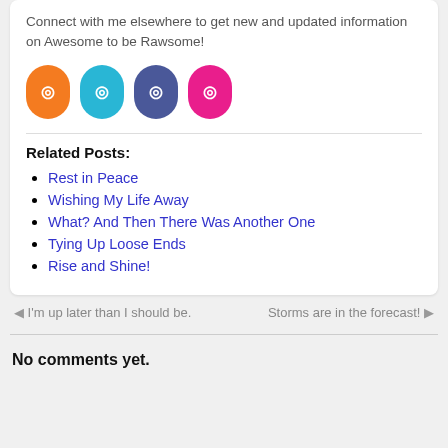Connect with me elsewhere to get new and updated information on Awesome to be Rawsome!
[Figure (infographic): Four social media icon buttons: orange RSS, cyan Twitter, blue-grey Facebook, pink Pinterest]
Related Posts:
Rest in Peace
Wishing My Life Away
What? And Then There Was Another One
Tying Up Loose Ends
Rise and Shine!
← I'm up later than I should be.
Storms are in the forecast! →
No comments yet.